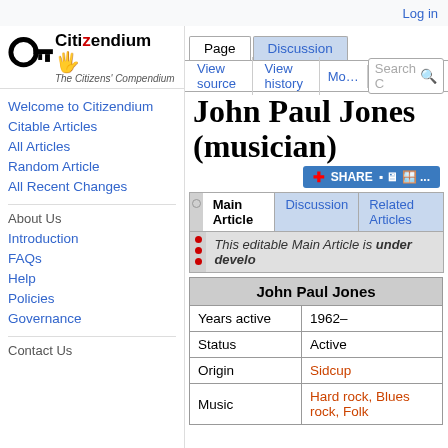Log in
[Figure (logo): Citizendium - The Citizens' Compendium logo with key icon]
John Paul Jones (musician)
| John Paul Jones |
| --- |
| Years active | 1962– |
| Status | Active |
| Origin | Sidcup |
| Music | Hard rock, Blues rock, Folk |